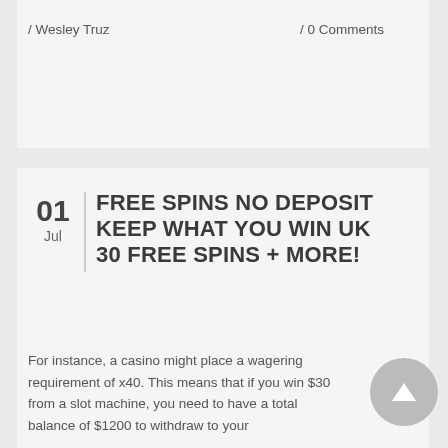/ Wesley Truz
/ 0 Comments
FREE SPINS NO DEPOSIT KEEP WHAT YOU WIN UK 30 FREE SPINS + MORE!
01
Jul
For instance, a casino might place a wagering requirement of x40. This means that if you win $30 from a slot machine, you need to have a total balance of $1200 to withdraw to your